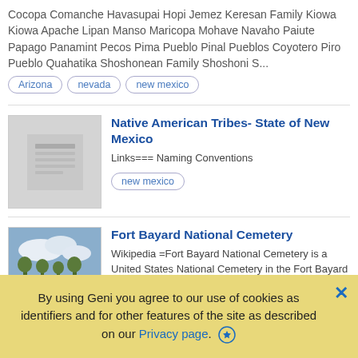Cocopa Comanche Havasupai Hopi Jemez Keresan Family Kiowa Kiowa Apache Lipan Manso Maricopa Mohave Navaho Paiute Papago Panamint Pecos Pima Pueblo Pinal Pueblos Coyotero Piro Pueblo Quahatika Shoshonean Family Shoshoni S...
Arizona
nevada
new mexico
Native American Tribes- State of New Mexico
Links=== Naming Conventions
new mexico
Fort Bayard National Cemetery
Wikipedia =Fort Bayard National Cemetery is a United States National Cemetery in the Fort Bayard Historic District, near Silver City, New Mexico. Find a Grave
Grant County
New Mexico
Silver City
By using Geni you agree to our use of cookies as identifiers and for other features of the site as described on our Privacy page.